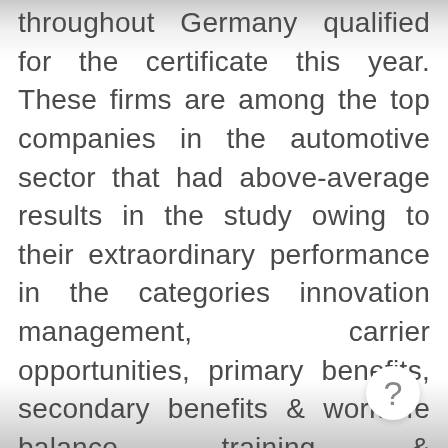throughout Germany qualified for the certificate this year. These firms are among the top companies in the automotive sector that had above-average results in the study owing to their extraordinary performance in the categories innovation management, carrier opportunities, primary benefits, secondary benefits & work-life balance, training & development and corporate culture. "Congratulations to KUKA AG for this achievement. We present this award to recognize companies for their exceptional HR policies and commitment. This also gives interested applicants the chance to learn all about the outstanding qualities of the employer," said David Plink, COO of the G...